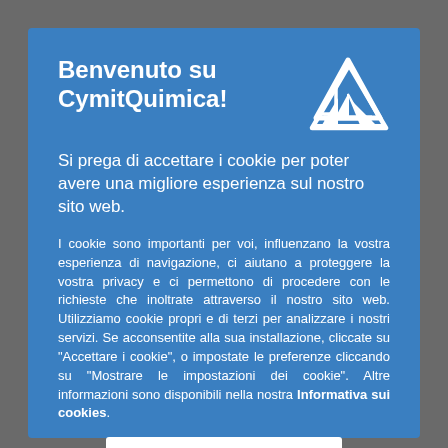Benvenuto su CymitQuimica!
[Figure (logo): CymitQuimica logo: white triangle/sail shapes on blue background]
Si prega di accettare i cookie per poter avere una migliore esperienza sul nostro sito web.
I cookie sono importanti per voi, influenzano la vostra esperienza di navigazione, ci aiutano a proteggere la vostra privacy e ci permettono di procedere con le richieste che inoltrate attraverso il nostro sito web. Utilizziamo cookie propri e di terzi per analizzare i nostri servizi. Se acconsentite alla sua installazione, cliccate su "Accettare i cookie", o impostate le preferenze cliccando su "Mostrare le impostazioni dei cookie". Altre informazioni sono disponibili nella nostra Informativa sui cookies.
Accettare i cookie